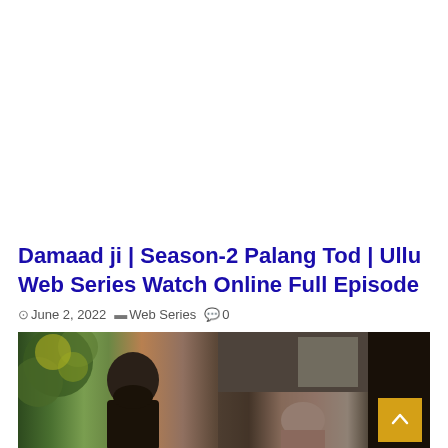Damaad ji | Season-2 Palang Tod | Ullu Web Series Watch Online Full Episode
June 2, 2022  Web Series  0
[Figure (photo): Thumbnail image showing two people in a scene from the Ullu web series Damaad ji Season-2 Palang Tod. A man with a beard is visible on the left, and another person is partially visible on the right, with a blurred indoor/outdoor background.]